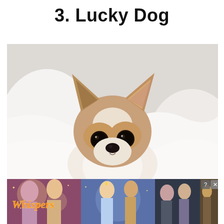3. Lucky Dog
[Figure (photo): A Chihuahua puppy with large ears, brown and white fur, dark eyes, and a small black nose, peeking out from white blankets/pillows against a light background.]
[Figure (screenshot): An advertisement banner showing romantic visual novel game artwork including the 'Whispers' game logo in orange/yellow cursive text, with illustrated characters in romantic scenes across multiple panels. A close button (X) and help button (?) are visible in the top right corner.]